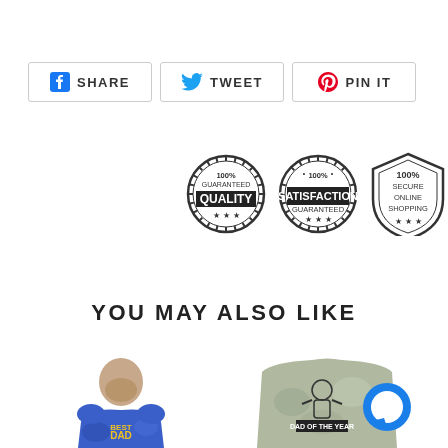[Figure (infographic): Three social share buttons: Facebook SHARE, Twitter TWEET, Pinterest PIN IT]
[Figure (infographic): Three trust badges: 100% Guaranteed Quality, 100% Satisfaction Guaranteed, 100% Secure Online Shopping]
YOU MAY ALSO LIKE
[Figure (photo): Man wearing blue tie-dye t-shirt with 'Best Dad in the Galaxy' text]
[Figure (photo): Grey tie-dye t-shirt with 'Dad of the Year' graphic, with blue chat bubble icon overlay]